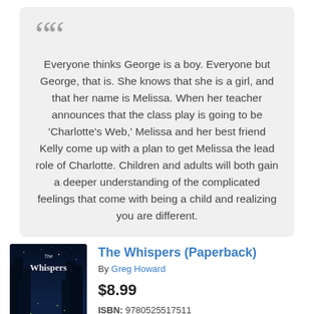Everyone thinks George is a boy. Everyone but George, that is. She knows that she is a girl, and that her name is Melissa. When her teacher announces that the class play is going to be 'Charlotte's Web,' Melissa and her best friend Kelly come up with a plan to get Melissa the lead role of Charlotte. Children and adults will both gain a deeper understanding of the complicated feelings that come with being a child and realizing you are different.
[Figure (photo): Book cover of 'The Whispers' by Greg Howard showing a child silhouette with a dog in a magical forest with glowing light]
The Whispers (Paperback)
By Greg Howard
$8.99
ISBN: 9780525517511
Availability: Ships Today - Not Currently In-Store